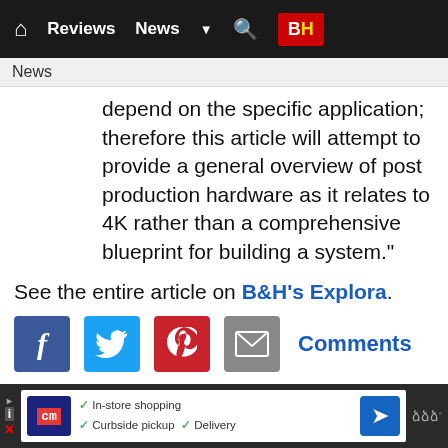Home Reviews News B&H
News
depend on the specific application; therefore this article will attempt to provide a general overview of post production hardware as it relates to 4K rather than a comprehensive blueprint for building a system."
See the entire article on B&H's Explora.
[Figure (infographic): Social sharing icons: Facebook, Twitter, Pinterest, Email, and Comments link]
Posted to: Canon News, Nikon News, Sony News  Category: B&H Explora
Post Date: 3/18/2016 11:06:15 AM CT  Posted By: Sean
[Figure (infographic): Advertisement banner with CM logo, In-store shopping, Curbside pickup, Delivery text, and navigation arrow]